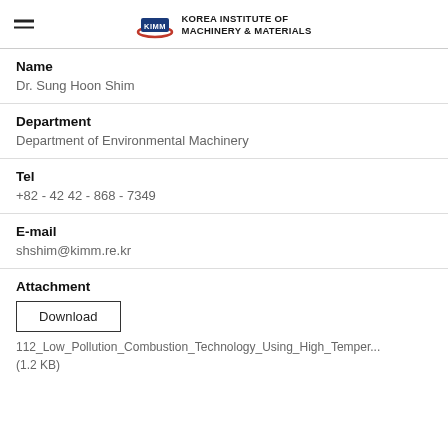KIMM — KOREA INSTITUTE OF MACHINERY & MATERIALS
Name
Dr. Sung Hoon Shim
Department
Department of Environmental Machinery
Tel
+82 - 42 42 - 868 - 7349
E-mail
shshim@kimm.re.kr
Attachment
Download
112_Low_Pollution_Combustion_Technology_Using_High_Temper... (1.2 KB)